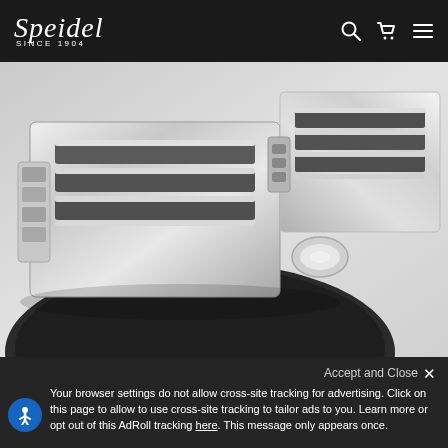Speidel Since 1904
[Figure (photo): Close-up product photo of a silver/chrome and black watch bracelet clasp mechanism on a light gray background, showing metallic links and deployment clasp detail]
Accept and Close ×
Your browser settings do not allow cross-site tracking for advertising. Click on this page to allow to use cross-site tracking to tailor ads to you. Learn more or opt out of this AdRoll tracking here. This message only appears once.